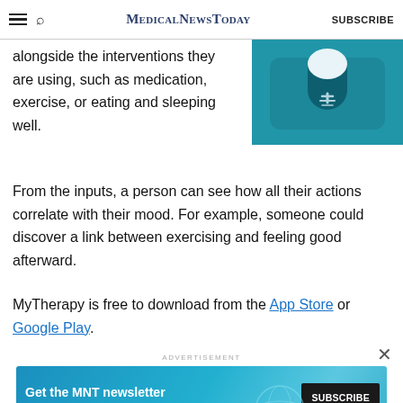MedicalNewsToday  SUBSCRIBE
[Figure (illustration): Teal/blue illustration of a capsule/pill on a dark teal background]
alongside the interventions they are using, such as medication, exercise, or eating and sleeping well.
From the inputs, a person can see how all their actions correlate with their mood. For example, someone could discover a link between exercising and feeling good afterward.
MyTherapy is free to download from the App Store or Google Play.
ADVERTISEMENT
[Figure (infographic): MNT newsletter subscription banner ad with blue background, globe illustration, and Subscribe button. Text: Get the MNT newsletter. Subscribe to receive our top news articles.]